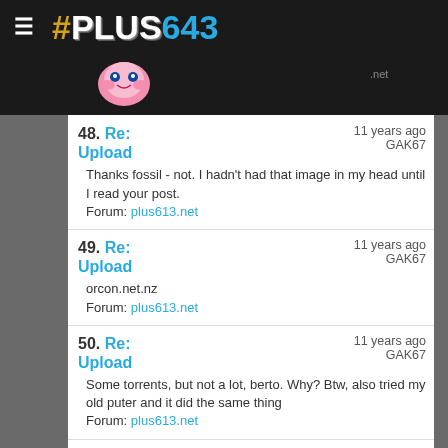# PLUS643 .net
48. Re: Upload — 11 years ago — GAK67
Thanks fossil - not. I hadn't had that image in my head until I read your post.
Forum: plus613.net
49. Re: Upload — 11 years ago — GAK67
orcon.net.nz
Forum: plus613.net
50. Re: Upload — 11 years ago — GAK67
Some torrents, but not a lot, berto. Why? Btw, also tried my old puter and it did the same thing
Forum: plus613.net
51. Re: Upload — 11 years ago — GAK67